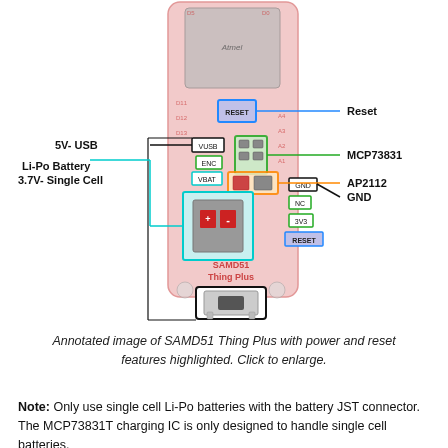[Figure (schematic): Annotated image of SAMD51 Thing Plus board showing power and reset features. Labels point to: 5V-USB (VUSB pin), Li-Po Battery 3.7V Single Cell (JST connector), Reset button, MCP73831 (charging IC), AP2112 (3.3V regulator), GND, NC, 3V3, RESET pins. Lines in black, cyan, green, and orange connect labels to board components.]
Annotated image of SAMD51 Thing Plus with power and reset features highlighted. Click to enlarge.
Note: Only use single cell Li-Po batteries with the battery JST connector. The MCP73831T charging IC is only designed to handle single cell batteries.